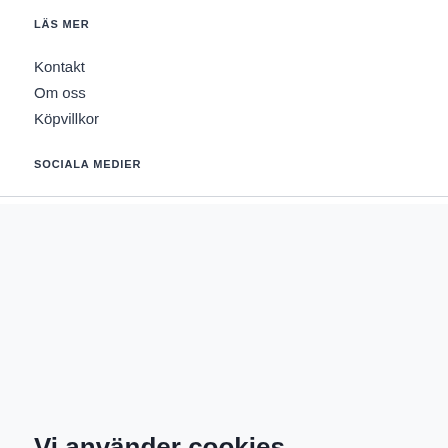LÄS MER
Kontakt
Om oss
Köpvillkor
SOCIALA MEDIER
Vi använder cookies
equipME använder cookies. Genom att fortsätta på sidan godkänner du användandet av cookies.
Godkänn alla
Inställningar